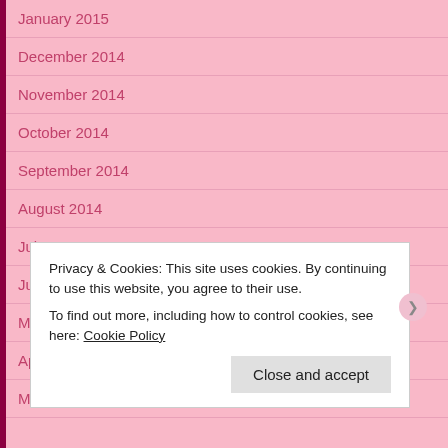January 2015
December 2014
November 2014
October 2014
September 2014
August 2014
July 2014
June 2014
May 2014
April 2014
March 2014
Privacy & Cookies: This site uses cookies. By continuing to use this website, you agree to their use. To find out more, including how to control cookies, see here: Cookie Policy
Close and accept